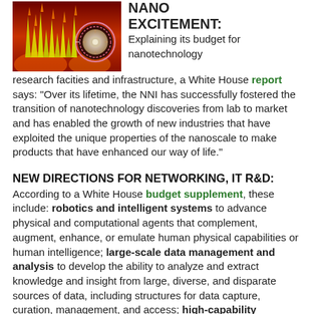[Figure (photo): Nanotechnology microscopy image showing nanostructures with bright yellow-green spikes on a red/orange background, with a circular inset showing a nanodevice detail]
NANO EXCITEMENT:
Explaining its budget for nanotechnology research facities and infrastructure, a White House report says: "Over its lifetime, the NNI has successfully fostered the transition of nanotechnology discoveries from lab to market and has enabled the growth of new industries that have exploited the unique properties of the nanoscale to make products that have enhanced our way of life."
NEW DIRECTIONS FOR NETWORKING, IT R&D:
According to a White House budget supplement, these include: robotics and intelligent systems to advance physical and computational agents that complement, augment, enhance, or emulate human physical capabilities or human intelligence; large-scale data management and analysis to develop the ability to analyze and extract knowledge and insight from large, diverse, and disparate sources of data, including structures for data capture, curation, management, and access; high-capability computing systems (HCS)